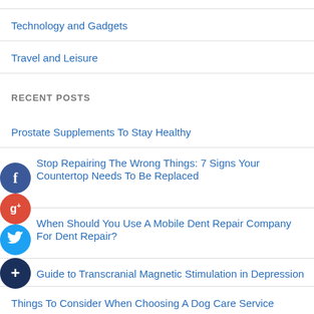Technology and Gadgets
Travel and Leisure
RECENT POSTS
Prostate Supplements To Stay Healthy
Stop Repairing The Wrong Things: 7 Signs Your Countertop Needs To Be Replaced
When Should You Use A Mobile Dent Repair Company For Dent Repair?
Guide to Transcranial Magnetic Stimulation in Depression
Things To Consider When Choosing A Dog Care Service